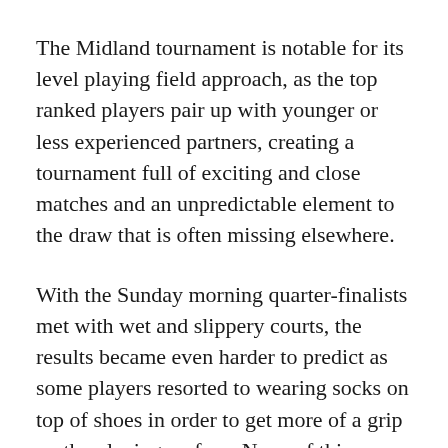The Midland tournament is notable for its level playing field approach, as the top ranked players pair up with younger or less experienced partners, creating a tournament full of exciting and close matches and an unpredictable element to the draw that is often missing elsewhere.
With the Sunday morning quarter-finalists met with wet and slippery courts, the results became even harder to predict as some players resorted to wearing socks on top of shoes in order to get more of a grip on the playing surface. None of this element of unpredictability prevented the cream from rising to the top, however, and the first semi-final saw Kinnaird winners Seb Cooley and James Toon on opposite sides, each